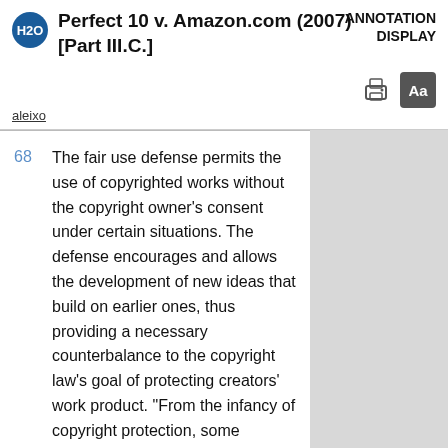Perfect 10 v. Amazon.com (2007) [Part III.C.] — ANNOTATION DISPLAY
aleixo
68  The fair use defense permits the use of copyrighted works without the copyright owner's consent under certain situations. The defense encourages and allows the development of new ideas that build on earlier ones, thus providing a necessary counterbalance to the copyright law's goal of protecting creators' work product. "From the infancy of copyright protection, some opportunity for fair use of copyrighted materials has been thought necessary to fulfill copyright's very purpose...."